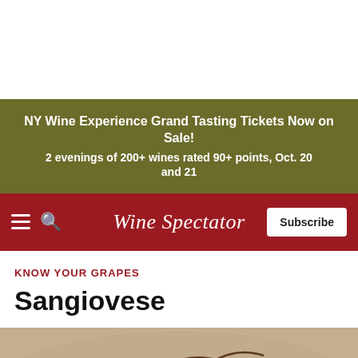[Figure (other): Olive/khaki colored advertisement banner for NY Wine Experience Grand Tasting Tickets]
NY Wine Experience Grand Tasting Tickets Now on Sale!
2 evenings of 200+ wines rated 90+ points, Oct. 20 and 21
Wine Spectator
KNOW YOUR GRAPES
Sangiovese
[Figure (photo): Close-up photo of dark red sangiovese grapes on a beige/stone surface]